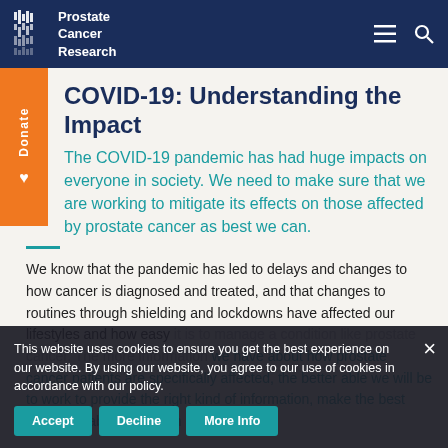Prostate Cancer Research
COVID-19: Understanding the Impact
The COVID-19 pandemic has had huge impacts on everyone in society. We need to make sure that we are working to mitigate its effects on those affected by prostate cancer as best we can.
We know that the pandemic has led to delays and changes to how cancer is diagnosed and treated, and that changes to routines through shielding and lockdowns have affected our lifestyles and how easy it is to manage a condition like prostate cancer. The more information we have about how prostate cancer patients are specifically affected, the better able we will be to work to provide the right kind of information, make the best decisions about services...
This website uses cookies to ensure you get the best experience on our website. By using our website, you agree to our use of cookies in accordance with our policy.